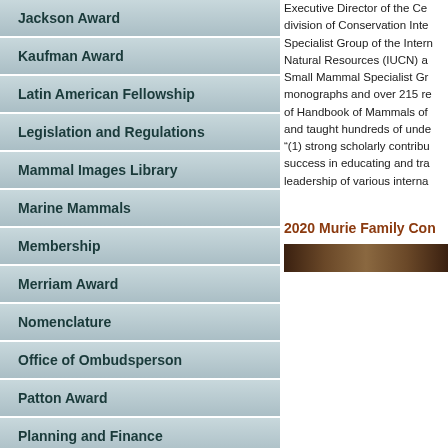Jackson Award
Kaufman Award
Latin American Fellowship
Legislation and Regulations
Mammal Images Library
Marine Mammals
Membership
Merriam Award
Nomenclature
Office of Ombudsperson
Patton Award
Planning and Finance
Program
Public Education
Publications Advisory Board
Executive Director of the Ce... division of Conservation Inte... Specialist Group of the Intern... Natural Resources (IUCN) a... Small Mammal Specialist Gr... monographs and over 215 re... of Handbook of Mammals of... and taught hundreds of unde... “(1) strong scholarly contribu... success in educating and tra... leadership of various interna...
2020 Murie Family Con
[Figure (photo): Dark brown/tan horizontal banner image related to Murie Family Conservation award]